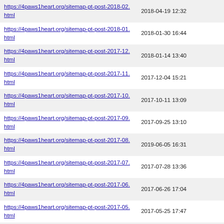| URL | Date |
| --- | --- |
| https://4paws1heart.org/sitemap-pt-post-2018-02.html | 2018-04-19 12:32 |
| https://4paws1heart.org/sitemap-pt-post-2018-01.html | 2018-01-30 16:44 |
| https://4paws1heart.org/sitemap-pt-post-2017-12.html | 2018-01-14 13:40 |
| https://4paws1heart.org/sitemap-pt-post-2017-11.html | 2017-12-04 15:21 |
| https://4paws1heart.org/sitemap-pt-post-2017-10.html | 2017-10-11 13:09 |
| https://4paws1heart.org/sitemap-pt-post-2017-09.html | 2017-09-25 13:10 |
| https://4paws1heart.org/sitemap-pt-post-2017-08.html | 2019-06-05 16:31 |
| https://4paws1heart.org/sitemap-pt-post-2017-07.html | 2017-07-28 13:36 |
| https://4paws1heart.org/sitemap-pt-post-2017-06.html | 2017-06-26 17:04 |
| https://4paws1heart.org/sitemap-pt-post-2017-05.html | 2017-05-25 17:47 |
| https://4paws1heart.org/sitemap-pt-post-2017-04.html | 2017-04-21 16:09 |
| https://4paws1heart.org/sitemap-pt-post-2017-03.html | 2017-03-18 17:15 |
| https://4paws1heart.org/sitemap-pt-post-2017-02.html | 2017-04-21 15:01 |
| https://4paws1heart.org/sitemap-pt-post-2017-01.html | 2017-01-26 18:56 |
| https://4paws1heart.org/sitemap-pt-post-2016-12.html | 2016-12-30 17:31 |
| https://4paws1heart.org/sitemap-pt-post-2016-11.html | 2016-11-30 20:21 |
| https://4paws1heart.org/sitemap-pt-post-2016-10.html | 2018-07-22 12:38 |
| https://4paws1heart.org/sitemap-pt-post-2016-09.html | 2016-12-06 13:43 |